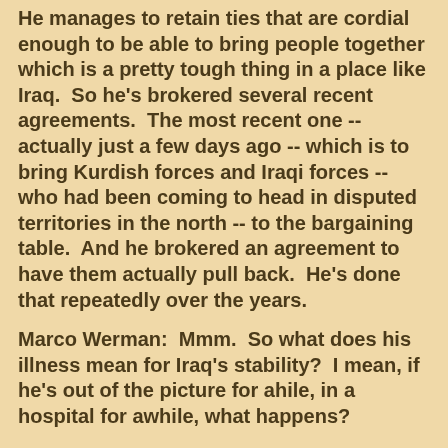He manages to retain ties that are cordial enough to be able to bring people together which is a pretty tough thing in a place like Iraq.  So he's brokered several recent agreements.  The most recent one -- actually just a few days ago -- which is to bring Kurdish forces and Iraqi forces -- who had been coming to head in disputed territories in the north -- to the bargaining table.  And he brokered an agreement to have them actually pull back.  He's done that repeatedly over the years.
Marco Werman:  Mmm.  So what does his illness mean for Iraq's stability?  I mean, if he's out of the picture for ahile, in a hospital for awhile, what happens?
Jane Arraf:  You know, people have been expecting this for quite awhile.  He's been in ill health.  He has been hospitalized quite a few times -- including treatment in the United States. So, in a sense, the party and Kurdish politics have moved around him and perhaps moved a little beyond him.  There will be a power struggle after he's gone.  His son has moved back to the Kurdish region from the United States.  There are other major players. People point to former Mosul...